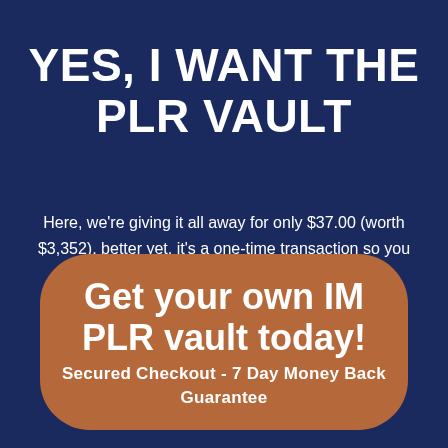YES, I WANT THE PLR VAULT
Here, we're giving it all away for only $37.00 (worth $3,352), better yet, it's a one-time transaction so you won't have to go through the hassle of monthly subscriptions.
Get your own IM PLR vault today! Secured Checkout - 7 Day Money Back Guarantee